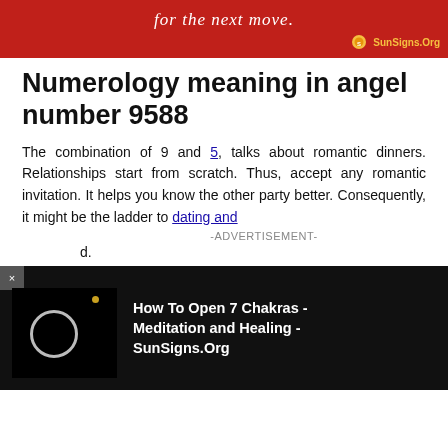[Figure (illustration): Red banner with italic text 'for the next move.' and SunSigns.Org logo with sun icon on the right]
Numerology meaning in angel number 9588
The combination of 9 and 5, talks about romantic dinners. Relationships start from scratch. Thus, accept any romantic invitation. It helps you know the other party better. Consequently, it might be the ladder to dating and [link continues] d.
-ADVERTISEMENT-
[Figure (screenshot): Video player overlay on black background showing 'How To Open 7 Chakras - Meditation and Healing - SunSigns.Org' with a circular eclipse thumbnail and a small yellow dot, with an X close button on the left]